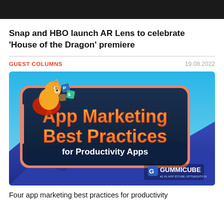[Figure (photo): Dark banner image at top of page]
Snap and HBO launch AR Lens to celebrate 'House of the Dragon' premiere
GUEST COLUMNS
19.08.2022
[Figure (illustration): App Marketing Best Practices for Productivity Apps - Gummicube promotional graphic with shiba inu mascot and colorful cubes on a sky blue background with dark rounded card showing orange and white text, mountain landscape at bottom, Gummicube logo bottom right]
Four app marketing best practices for productivity